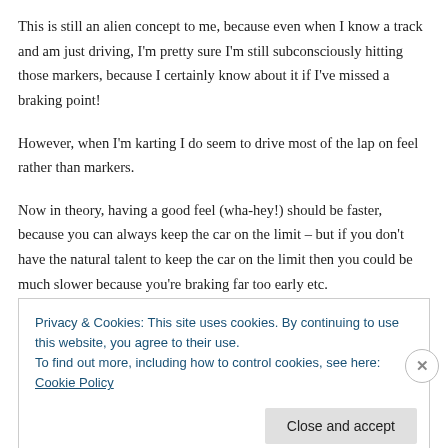This is still an alien concept to me, because even when I know a track and am just driving, I'm pretty sure I'm still subconsciously hitting those markers, because I certainly know about it if I've missed a braking point!
However, when I'm karting I do seem to drive most of the lap on feel rather than markers.
Now in theory, having a good feel (wha-hey!) should be faster, because you can always keep the car on the limit – but if you don't have the natural talent to keep the car on the limit then you could be much slower because you're braking far too early etc.
Privacy & Cookies: This site uses cookies. By continuing to use this website, you agree to their use.
To find out more, including how to control cookies, see here: Cookie Policy
Close and accept